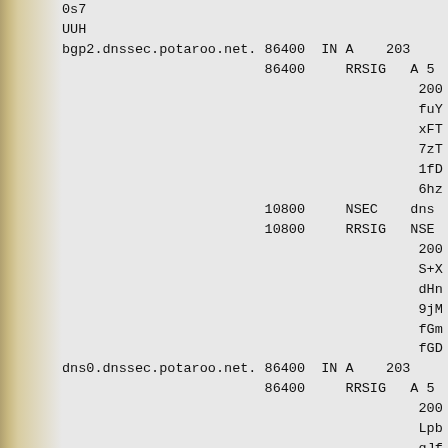0s7
UUH
bgp2.dnssec.potaroo.net. 86400  IN A    203
                         86400     RRSIG   A 5
                                            200
                                            fuY
                                            xFT
                                            7zT
                                            1fD
                                            6hz
                         10800     NSEC    dns
                         10800     RRSIG   NSE
                                            200
                                            S+X
                                            dHn
                                            9jM
                                            fGm
                                            fGD
dns0.dnssec.potaroo.net. 86400  IN A    203
                         86400     RRSIG   A 5
                                            200
                                            Lpb
                                            qJf
                                            JFI
                                            EOR